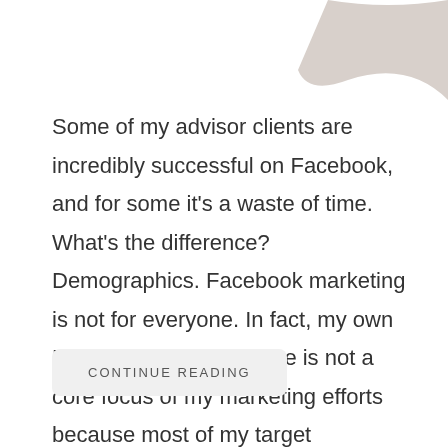[Figure (illustration): Decorative abstract shape in light taupe/grayish-pink color in the top-right corner of the page]
Some of my advisor clients are incredibly successful on Facebook, and for some it's a waste of time. What's the difference? Demographics. Facebook marketing is not for everyone. In fact, my own Facebook business page is not a core focus of my marketing efforts because most of my target prospects are ...
CONTINUE READING